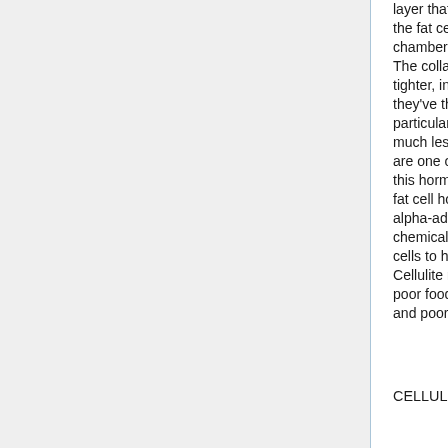layer that retains the fats cells, and the fat cells protrude out of the chambers and appear as cellulite. The collagen pattern in males is tighter, in a diagonal sample, and they've thicker pores and skin, so particular person fats cells bulge much less. High estrogen ranges are one other trigger in cellulite, as this hormone has a direct impact on fat cell holding capability by rising alpha-adrenoreceptors, the chemical doorways that inform fats cells to hang on to their contents. Cellulite may be exacerbated by a poor food plan, poor circulation, and poor lymphatic circulation.
CELLULITE Pores and skin Remedy